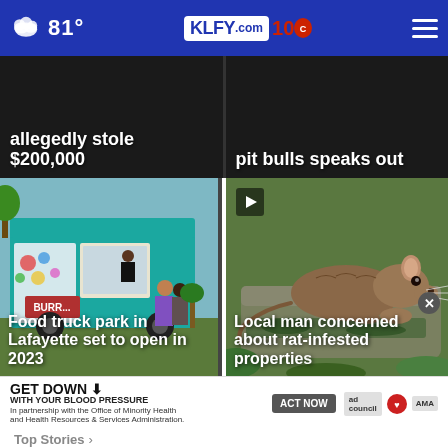81° KLFY.com 10
allegedly stole $200,000
pit bulls speaks out
[Figure (photo): Food truck park scene with teal food truck]
Food truck park in Lafayette set to open in 2023
[Figure (photo): A brown rat on mossy stone]
Local man concerned about rat-infested properties
[Figure (infographic): GET DOWN WITH YOUR BLOOD PRESSURE advertisement banner with ACT NOW button, ad council and AMA logos]
Top Stories >